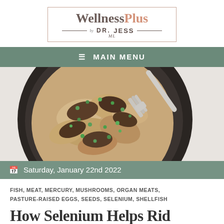[Figure (logo): WellnessPlus by Dr. Jess logo in a rectangular border]
≡ MAIN MENU
[Figure (photo): Overhead photo of sautéed mushrooms with green onions in a dark pan with a fork]
Saturday, January 22nd 2022
FISH, MEAT, MERCURY, MUSHROOMS, ORGAN MEATS, PASTURE-RAISED EGGS, SEEDS, SELENIUM, SHELLFISH
How Selenium Helps Rid